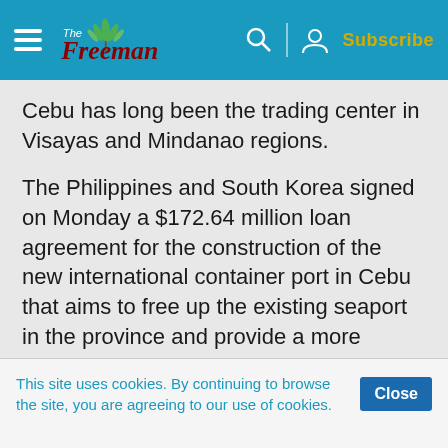The Freeman — Subscribe
Cebu has long been the trading center in Visayas and Mindanao regions.
The Philippines and South Korea signed on Monday a $172.64 million loan agreement for the construction of the new international container port in Cebu that aims to free up the existing seaport in the province and provide a more efficient and reliable transport infrastructure for the unimpeded flow of goods and services in the Visayas.
This site uses cookies. By continuing to browse the site, you are agreeing to our use of cookies.